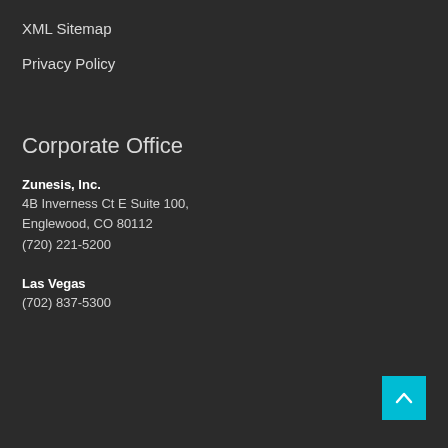XML Sitemap
Privacy Policy
Corporate Office
Zunesis, Inc.
4B Inverness Ct E Suite 100,
Englewood, CO 80112
(720) 221-5200
Las Vegas
(702) 837-5300
[Figure (illustration): Cyan/light-blue scroll-to-top button with upward chevron arrow, positioned bottom-right corner]